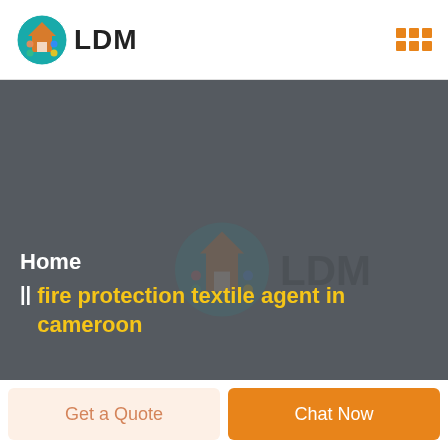LDM
[Figure (illustration): LDM logo in header: circular icon with paint palette colors and text LDM in bold dark letters]
Home || fire protection textile agent in cameroon
[Figure (logo): LDM watermark logo in hero background, semi-transparent teal circle with house and paint palette icon, bold LDM text beside it]
Get a Quote
Chat Now